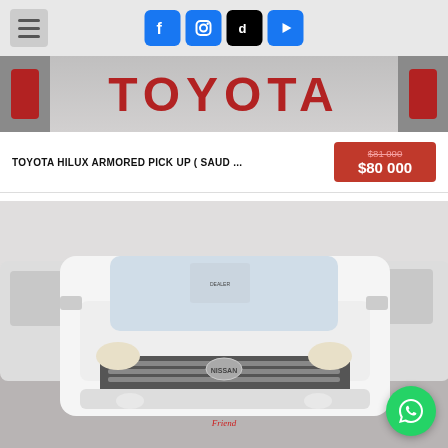Navigation bar with hamburger menu and social icons (Facebook, Instagram, TikTok, YouTube)
[Figure (photo): Toyota branded banner showing large red TOYOTA lettering with red tail lights on both sides]
TOYOTA HILUX ARMORED PICK UP ( SAUD ...
$81 000 (strikethrough) $80 000
[Figure (photo): White Nissan pickup truck front view in a car showroom with other white vehicles in background and a 'Friend' script sticker on the front]
[Figure (logo): WhatsApp floating action button (green circle with phone handset icon)]